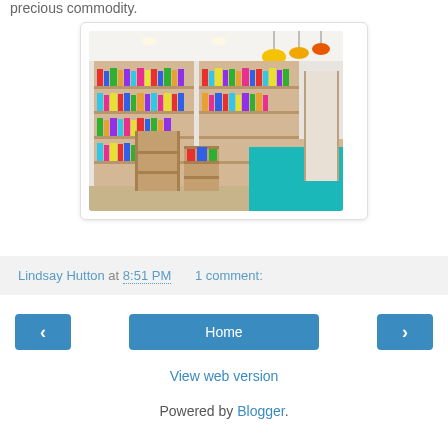precious commodity.
[Figure (photo): Interior of a colorful bookstore/gift shop with wooden shelves filled with books, toys and colorful merchandise. Pendant lights in yellow and orange hang from the ceiling. A teal-colored counter is visible on the right side.]
Lindsay Hutton at 8:51 PM    1 comment:
‹    Home    ›
View web version
Powered by Blogger.